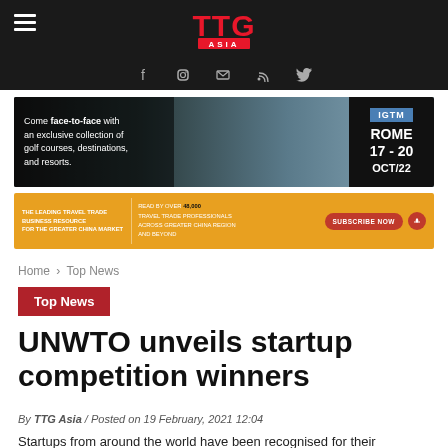TTG Asia
[Figure (infographic): IGTM advertisement banner: Come face-to-face with an exclusive collection of golf courses, destinations, and resorts. IGTM. ROME 17–20 OCT/22]
[Figure (infographic): TTG China advertisement: THE LEADING TRAVEL TRADE BUSINESS RESOURCE FOR THE GREATER CHINA MARKET. READ BY OVER 48,000 TRAVEL TRADE PROFESSIONALS ACROSS GREATER CHINA REGION AND BEYOND. SUBSCRIBE NOW]
Home › Top News
Top News
UNWTO unveils startup competition winners
By TTG Asia / Posted on 19 February, 2021 12:04
Startups from around the world have been recognised for their contributions to sustainable and responsible tourism in the